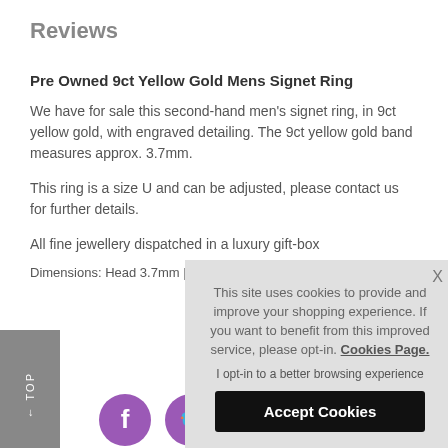Reviews
Pre Owned 9ct Yellow Gold Mens Signet Ring
We have for sale this second-hand men's signet ring, in 9ct yellow gold, with engraved detailing. The 9ct yellow gold band measures approx. 3.7mm.
This ring is a size U and can be adjusted, please contact us for further details.
All fine jewellery di... in a luxury gift-box
Dimensions: Head ... 3.7mm | Weight: 5....
This site uses cookies to provide and improve your shopping experience. If you want to benefit from this improved service, please opt-in. Cookies Page.
I opt-in to a better browsing experience
Accept Cookies
[Figure (illustration): Social media icons row: Facebook, Twitter, Pinterest, unknown, partially visible]